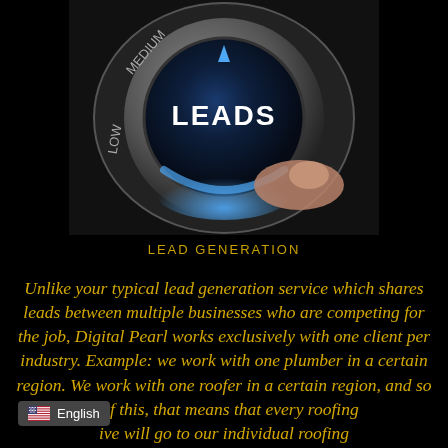[Figure (photo): A dial/knob with markings for LOW, MEDIUM, and LEADS. The knob is turned to LEADS, lit with a blue glow, and a finger is pressing/turning it. Dark metallic background.]
LEAD GENERATION
Unlike your typical lead generation service which shares leads between multiple businesses who are competing for the job, Digital Pearl works exclusively with one client per industry. Example: we work with one plumber in a certain region. We work with one roofer in a certain region, and so of this, that means that every roofing ive will go to our individual roofing